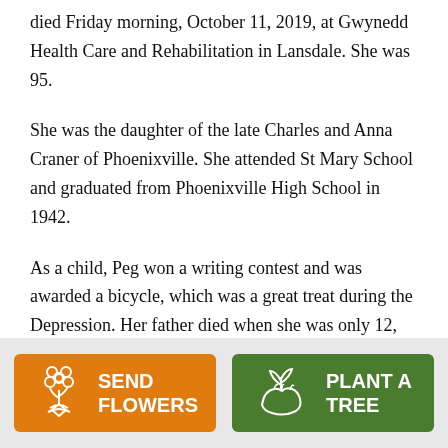died Friday morning, October 11, 2019, at Gwynedd Health Care and Rehabilitation in Lansdale. She was 95.
She was the daughter of the late Charles and Anna Craner of Phoenixville. She attended St Mary School and graduated from Phoenixville High School in 1942.
As a child, Peg won a writing contest and was awarded a bicycle, which was a great treat during the Depression. Her father died when she was only 12,
[Figure (infographic): Footer bar with two buttons: 'SEND FLOWERS' (orange background with flower bouquet icon) and 'PLANT A TREE' (green background with seedling/hand icon)]